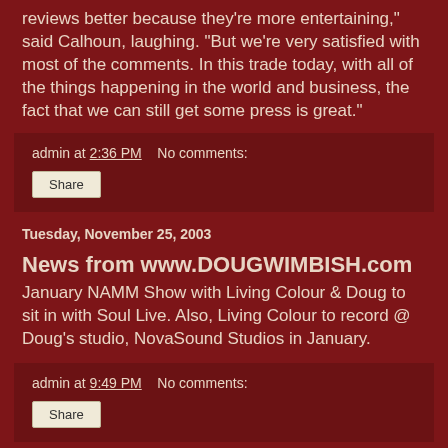reviews better because they're more entertaining," said Calhoun, laughing. "But we're very satisfied with most of the comments. In this trade today, with all of the things happening in the world and business, the fact that we can still get some press is great."
admin at 2:36 PM   No comments:
Share
Tuesday, November 25, 2003
News from www.DOUGWIMBISH.com
January NAMM Show with Living Colour & Doug to sit in with Soul Live. Also, Living Colour to record @ Doug's studio, NovaSound Studios in January.
admin at 9:49 PM   No comments:
Share